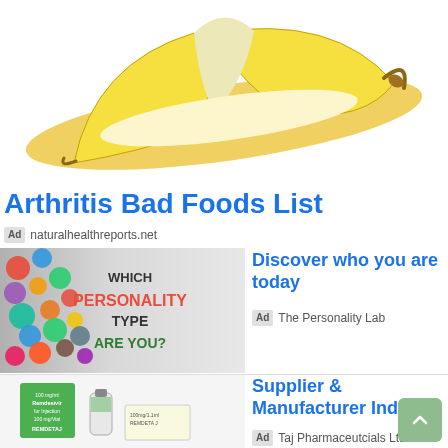[Figure (photo): A peeled banana lying on white background]
Arthritis Bad Foods List
Ad  naturalhealthreports.net
[Figure (photo): Advertisement image showing colorful personality silhouettes with text 'WHICH PERSONALITY TYPE ARE YOU?']
Discover who you are today
Ad  The Personality Lab
[Figure (photo): Photo of Remdesivir for Injection 100mg/Vial pharmaceutical products (REMDETAJ brand)]
Supplier & Manufacturer India
Ad  Taj Pharmaceutcials Ltd.